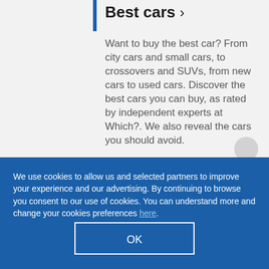Best cars >
Want to buy the best car? From city cars and small cars, to crossovers and SUVs, from new cars to used cars. Discover the best cars you can buy, as rated by independent experts at Which?. We also reveal the cars you should avoid.
We use cookies to allow us and selected partners to improve your experience and our advertising. By continuing to browse you consent to our use of cookies. You can understand more and change your cookies preferences here.